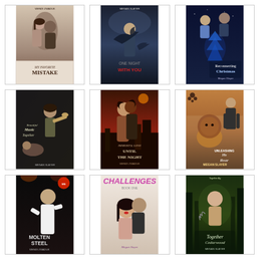[Figure (illustration): Book cover: MY FAVORITE MISTAKE by Wendi Zwaduk. Romantic couple image.]
[Figure (illustration): Book cover: ONE NIGHT WITH YOU by Megan Slayer. Dark atmospheric with male figure and bird.]
[Figure (illustration): Book cover: Reconnecting Christmas by Megan Slayer. Blue toned with two figures.]
[Figure (illustration): Book cover: Beautiful Music Together by Megan Slayer. Dark cover with trumpet player.]
[Figure (illustration): Book cover: UNTIL THE NIGHT by Wendi Zwaduk. Dark red toned with embracing figures and city.]
[Figure (illustration): Book cover: UNLEASHING HIS ROAR by Megan Slayer. Lion and men figures.]
[Figure (illustration): Book cover: MOLTEN STEEL by Wendi Zwaduk. Dark concert scene.]
[Figure (illustration): Book cover: CHALLENGES by Megan Slayer. Couple embrace.]
[Figure (illustration): Book cover: Together Cedarwood by Megan Slayer. Forest scene with figure.]